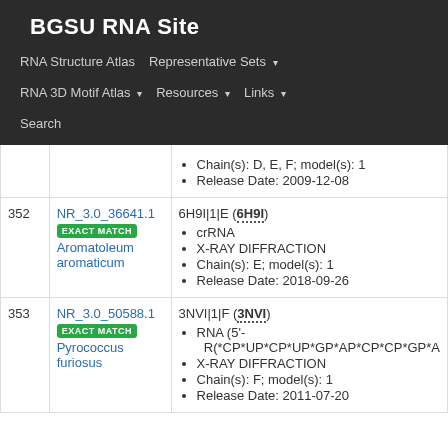BGSU RNA Site
RNA Structure Atlas | Representative Sets | RNA 3D Motif Atlas | Resources | Links | Search
| # | ID / Match / Organism | Entry Details |
| --- | --- | --- |
|  |  | Chain(s): D, E, F; model(s): 1
Release Date: 2009-12-08 |
| 352 | NR_3.0_36641.1
EXACT MATCH
Aromatoleum aromaticum | 6H9I|1|E (6H9I)
crRNA
X-RAY DIFFRACTION
Chain(s): E; model(s): 1
Release Date: 2018-09-26 |
| 353 | NR_3.0_50588.1
EXACT MATCH
Pyrococcus furiosus | 3NVI|1|F (3NVI)
RNA (5'-R(*CP*UP*CP*UP*GP*AP*CP*CP*GP*A
X-RAY DIFFRACTION
Chain(s): F; model(s): 1
Release Date: 2011-07-20 |